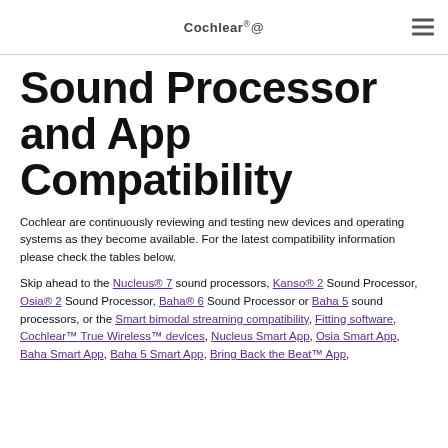Cochlear®
Sound Processor and App Compatibility
Cochlear are continuously reviewing and testing new devices and operating systems as they become available. For the latest compatibility information please check the tables below.
Skip ahead to the Nucleus® 7 sound processors, Kanso® 2 Sound Processor, Osia® 2 Sound Processor, Baha® 6 Sound Processor or Baha 5 sound processors, or the Smart bimodal streaming compatibility, Fitting software, Cochlear™ True Wireless™ devices, Nucleus Smart App, Osia Smart App, Baha Smart App, Baha 5 Smart App, Bring Back the Beat™ App,